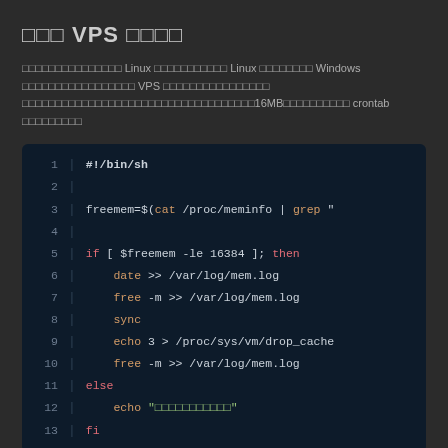□□□ VPS □□□□
□□□□□□□□□□□□□□□ Linux □□□□□□□□□□□ Linux □□□□□□□□ Windows □□□□□□□□□□□□□□□□□ VPS □□□□□□□□□□□□□□□□ □□□□□□□□□□□□□□□□□□□□□□□□□□□□□□□□□□□16MB□□□□□□□□□□ crontab □□□□□□□□□
[Figure (screenshot): Shell script code block showing a bash script that checks free memory and clears cache if memory is below 16384, logging to /var/log/mem.log]